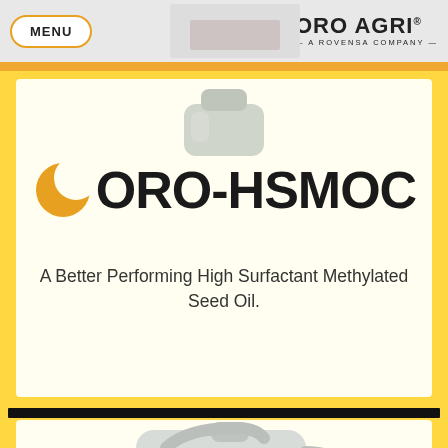MENU | ORO AGRI® — A ROVENSA COMPANY —
[Figure (photo): Top portion of a white flat-cap bottle against cream background]
ORO-HSMOC
A Better Performing High Surfactant Methylated Seed Oil.
LEARN MORE...
[Figure (photo): White plastic jug with ORO-RZ label featuring orange moon logo]